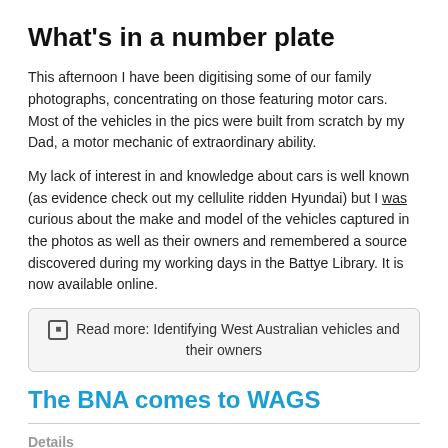What's in a number plate
This afternoon I have been digitising some of our family photographs, concentrating on those featuring motor cars. Most of the vehicles in the pics were built from scratch by my Dad, a motor mechanic of extraordinary ability.
My lack of interest in and knowledge about cars is well known (as evidence check out my cellulite ridden Hyundai) but I was curious about the make and model of the vehicles captured in the photos as well as their owners and remembered a source discovered during my working days in the Battye Library. It is now available online.
Read more: Identifying West Australian vehicles and their owners
The BNA comes to WAGS
Details
Category: News Items
Last Updated: 14 October 2015
Hits: 1996